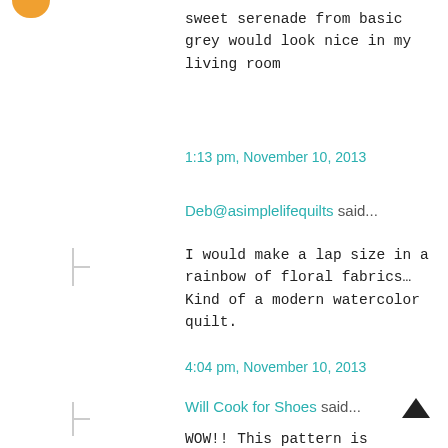sweet serenade from basic grey would look nice in my living room
1:13 pm, November 10, 2013
Deb@asimplelifequilts said...
I would make a lap size in a rainbow of floral fabrics... Kind of a modern watercolor quilt.
4:04 pm, November 10, 2013
Will Cook for Shoes said...
WOW!! This pattern is awesome!!!
Trina
tgallop@mts.net
www.willcookforshoes.ca